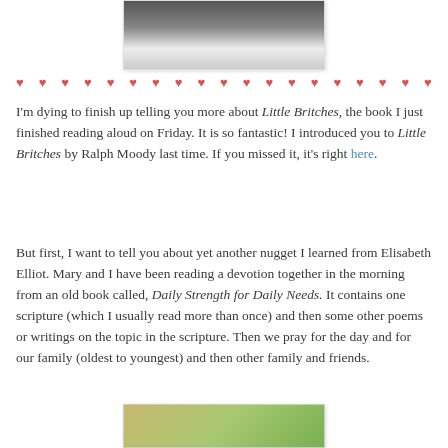[Figure (photo): Top portion of a photo showing a person in white pants, partially cropped]
♥ ♥ ♥ ♥ ♥ ♥ ♥ ♥ ♥ ♥ ♥ ♥ ♥ ♥ ♥ ♥ ♥ ♥ ♥
I'm dying to finish up telling you more about Little Britches, the book I just finished reading aloud on Friday. It is so fantastic! I introduced you to Little Britches by Ralph Moody last time. If you missed it, it's right here.
But first, I want to tell you about yet another nugget I learned from Elisabeth Elliot. Mary and I have been reading a devotion together in the morning from an old book called, Daily Strength for Daily Needs. It contains one scripture (which I usually read more than once) and then some other poems or writings on the topic in the scripture. Then we pray for the day and for our family (oldest to youngest) and then other family and friends.
[Figure (photo): Bottom portion of a photo showing books and supplies, partially cropped at bottom of page]